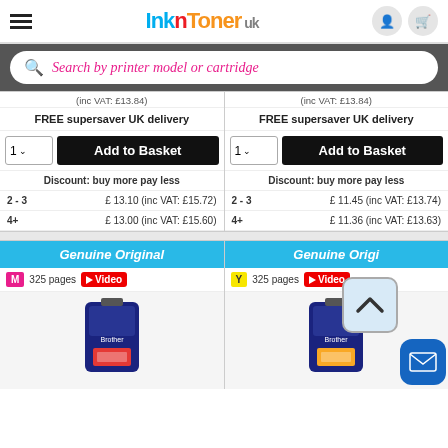[Figure (screenshot): InknToner UK website header with logo, hamburger menu, and cart/account icons]
Search by printer model or cartridge
(inc VAT: £13.84)
FREE supersaver UK delivery
Add to Basket
Discount: buy more pay less
2 - 3   £ 13.10 (inc VAT: £15.72)
4+   £ 13.00 (inc VAT: £15.60)
(inc VAT: £13.84)
FREE supersaver UK delivery
Add to Basket
Discount: buy more pay less
2 - 3   £ 11.45 (inc VAT: £13.74)
4+   £ 11.36 (inc VAT: £13.63)
Genuine Original
M  325 pages  ▶ Video
Genuine Original
Y  325 pages  ▶ Video